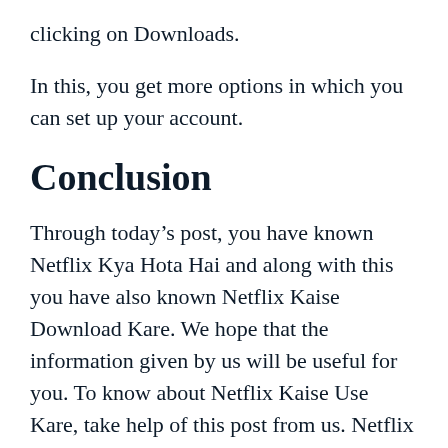clicking on Downloads.
In this, you get more options in which you can set up your account.
Conclusion
Through today’s post, you have known Netflix Kya Hota Hai and along with this you have also known Netflix Kaise Download Kare. We hope that the information given by us will be useful for you. To know about Netflix Kaise Use Kare, take help of this post from us. Netflix Kaise Chalaye would have come to know you through today’s post. And